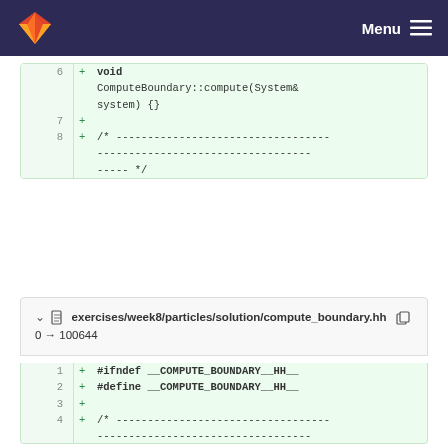Menu
6  + void ComputeBoundary::compute(System& system) {}
7  +
8  + /* ----------------------------------------------------------------- */
exercises/week8/particles/solution/compute_boundary.hh  0 → 100644
1  + #ifndef __COMPUTE_BOUNDARY__HH__
2  + #define __COMPUTE_BOUNDARY__HH__
3  +
4  + /* ----------------------------------------------------------------- */
5  + #include "compute.hh"
6  + /* ---